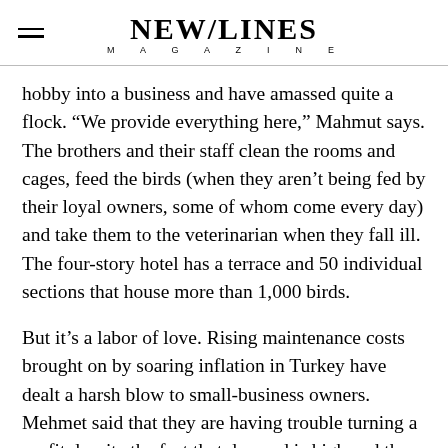NEW/LINES MAGAZINE
hobby into a business and have amassed quite a flock. “We provide everything here,” Mahmut says. The brothers and their staff clean the rooms and cages, feed the birds (when they aren’t being fed by their loyal owners, some of whom come every day) and take them to the veterinarian when they fall ill. The four-story hotel has a terrace and 50 individual sections that house more than 1,000 birds.
But it’s a labor of love. Rising maintenance costs brought on by soaring inflation in Turkey have dealt a harsh blow to small-business owners. Mehmet said that they are having trouble turning a profit despite the fact that demand is high and they have plenty of customers.